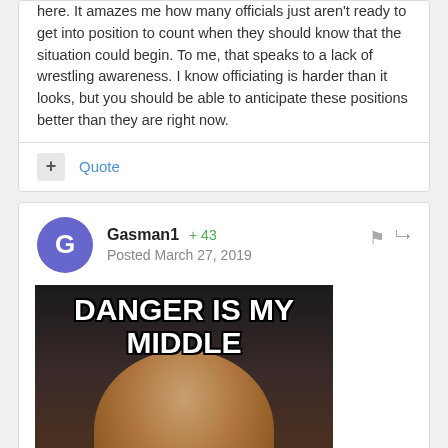here.  It amazes me how many officials just aren't ready to get into position to count when they should know that the situation could begin. To me, that speaks to a lack of wrestling awareness. I know officiating is harder than it looks, but you should be able to anticipate these positions better than they are right now.
Gasman1  +43  Posted March 27, 2019
[Figure (photo): Meme image with text 'DANGER IS MY MIDDLE NAME' over a photo of a man with glasses in a red jacket]